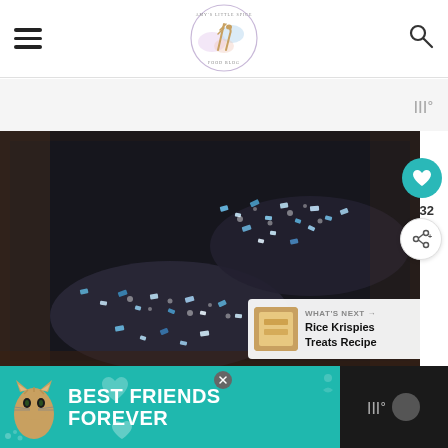Amy's Little Spice - food blog logo, hamburger menu, search icon
[Figure (photo): Close-up photo of blue/white Rice Krispie treats dusted with sugar in a dark baking pan, dark moody background]
32
WHAT'S NEXT → Rice Krispies Treats Recipe
[Figure (advertisement): Dark teal advertisement banner showing a cat with text BEST FRIENDS FOREVER with heart icons]